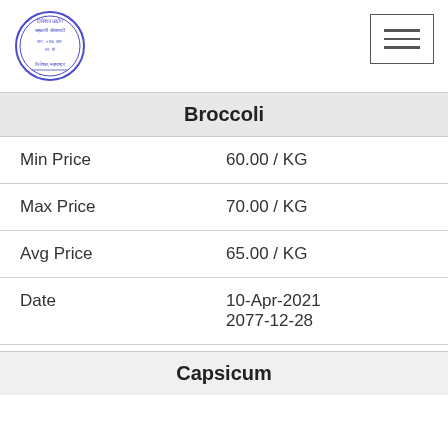[Figure (logo): Circular government/cooperative society stamp in blue ink with text in Marathi and English]
Broccoli
| Min Price | 60.00 / KG |
| Max Price | 70.00 / KG |
| Avg Price | 65.00 / KG |
| Date | 10-Apr-2021
2077-12-28 |
Capsicum